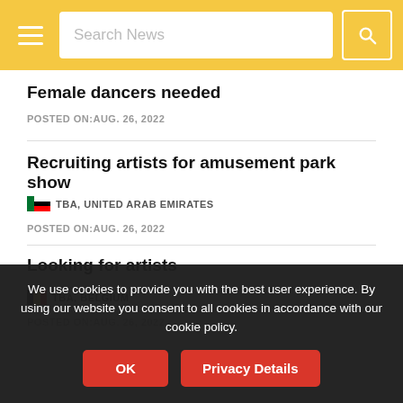Search News
Female dancers needed
POSTED ON:AUG. 26, 2022
Recruiting artists for amusement park show
TBA, UNITED ARAB EMIRATES
POSTED ON:AUG. 26, 2022
Looking for artists
TBA, BELGIUM
POSTED ON:AUG. 26, 2022
We use cookies to provide you with the best user experience. By using our website you consent to all cookies in accordance with our cookie policy.